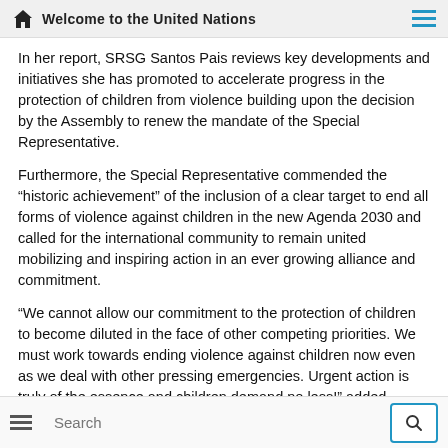Welcome to the United Nations
In her report, SRSG Santos Pais reviews key developments and initiatives she has promoted to accelerate progress in the protection of children from violence building upon the decision by the Assembly to renew the mandate of the Special Representative.
Furthermore, the Special Representative commended the “historic achievement” of the inclusion of a clear target to end all forms of violence against children in the new Agenda 2030 and called for the international community to remain united mobilizing and inspiring action in an ever growing alliance and commitment.
“We cannot allow our commitment to the protection of children to become diluted in the face of other competing priorities. We must work towards ending violence against children now even as we deal with other pressing emergencies. Urgent action is truly of the essence and children demand no less!” added SRSG Santos Pais.
Search